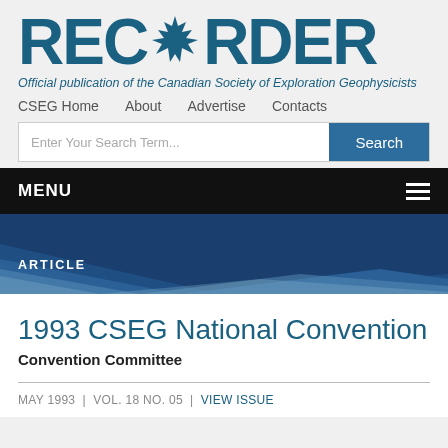RECORDER — Official publication of the Canadian Society of Exploration Geophysicists
CSEG Home   About   Advertise   Contacts
Enter Your Search Term...   Search
MENU
ARTICLE
1993 CSEG National Convention
Convention Committee
MAY 1993 | VOL. 18 NO. 05 | VIEW ISSUE